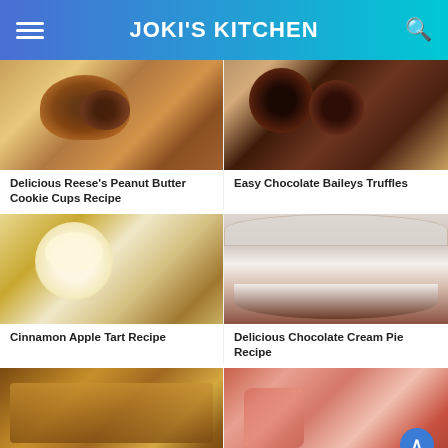JOKI'S KITCHEN
[Figure (photo): Reese's peanut butter cookie cups with chocolate topping, close-up]
Delicious Reese's Peanut Butter Cookie Cups Recipe
[Figure (photo): Easy chocolate Baileys truffles, dark chocolate coated round truffles]
Easy Chocolate Baileys Truffles
[Figure (photo): Cinnamon apple tart with vanilla ice cream and caramel drizzle]
Cinnamon Apple Tart Recipe
[Figure (photo): Chocolate cream pie with whipped cream and chocolate shavings]
Delicious Chocolate Cream Pie Recipe
[Figure (photo): Bottom left dessert bar, caramel pecan style]
[Figure (photo): Bottom right dessert with peppermint/candy and caramel sauce]